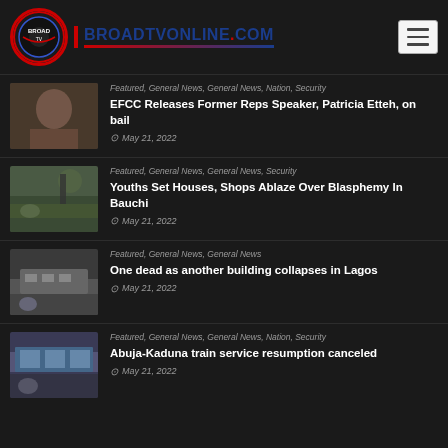BROADTVONLINE.COM
Featured, General News, General News, Nation, Security | EFCC Releases Former Reps Speaker, Patricia Etteh, on bail | May 21, 2022
Featured, General News, General News, Security | Youths Set Houses, Shops Ablaze Over Blasphemy In Bauchi | May 21, 2022
Featured, General News, General News | One dead as another building collapses in Lagos | May 21, 2022
Featured, General News, General News, Nation, Security | Abuja-Kaduna train service resumption canceled | May 21, 2022